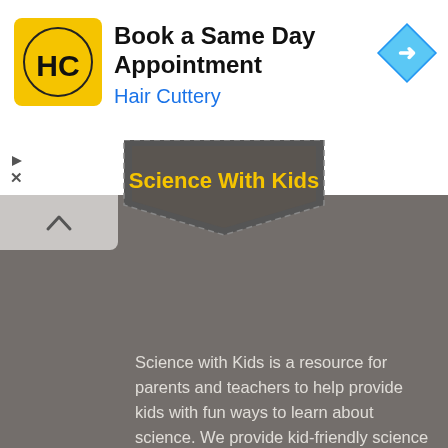[Figure (logo): Hair Cuttery logo - HC letters in black on yellow background, circular design]
Book a Same Day Appointment
Hair Cuttery
[Figure (logo): Blue diamond-shaped navigation/direction arrow icon]
▷
✕
[Figure (illustration): Science With Kids badge/shield logo with yellow text on dark background]
Science with Kids is a resource for parents and teachers to help provide kids with fun ways to learn about science. We provide kid-friendly science facts, science experiments and tips on places to learn about science.